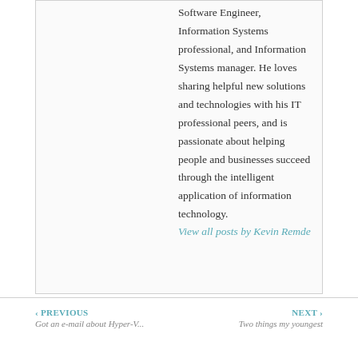Software Engineer, Information Systems professional, and Information Systems manager. He loves sharing helpful new solutions and technologies with his IT professional peers, and is passionate about helping people and businesses succeed through the intelligent application of information technology.
View all posts by Kevin Remde
‹ PREVIOUS Got an e-mail about Hyper-V... | NEXT › Two things my youngest